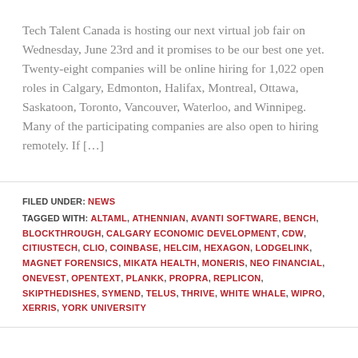Tech Talent Canada is hosting our next virtual job fair on Wednesday, June 23rd and it promises to be our best one yet. Twenty-eight companies will be online hiring for 1,022 open roles in Calgary, Edmonton, Halifax, Montreal, Ottawa, Saskatoon, Toronto, Vancouver, Waterloo, and Winnipeg. Many of the participating companies are also open to hiring remotely. If […]
FILED UNDER: NEWS
TAGGED WITH: ALTAML, ATHENNIAN, AVANTI SOFTWARE, BENCH, BLOCKTHROUGH, CALGARY ECONOMIC DEVELOPMENT, CDW, CITIUSTECH, CLIO, COINBASE, HELCIM, HEXAGON, LODGELINK, MAGNET FORENSICS, MIKATA HEALTH, MONERIS, NEO FINANCIAL, ONEVEST, OPENTEXT, PLANKK, PROPRA, REPLICON, SKIPTHEDISHES, SYMEND, TELUS, THRIVE, WHITE WHALE, WIPRO, XERRIS, YORK UNIVERSITY